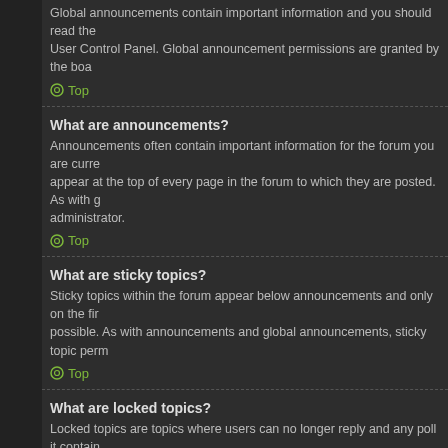Global announcements contain important information and you should read them. User Control Panel. Global announcement permissions are granted by the boa...
⊙ Top
What are announcements?
Announcements often contain important information for the forum you are curre... appear at the top of every page in the forum to which they are posted. As with g... administrator.
⊙ Top
What are sticky topics?
Sticky topics within the forum appear below announcements and only on the fir... possible. As with announcements and global announcements, sticky topic perm...
⊙ Top
What are locked topics?
Locked topics are topics where users can no longer reply and any poll it contain... were set this way by either the forum moderator or board administrator. You ma... granted by the board administrator.
⊙ Top
What are topic icons?
Topic icons are author chosen images associated with posts to indicate their co... board administrator.
⊙ Top